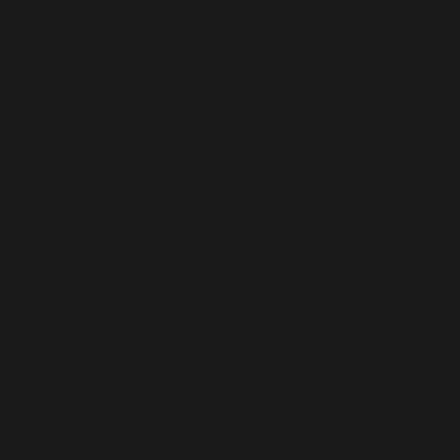[Figure (logo): [H]ardForum logo on black background]
Log in  Register
< Video Cards
Fantastic Repaste Results with my EVGA 1080 ti SC!
Silas1128 · Mar 23, 2022
Mar 23, 2022  #1
Silas1128
n00b
I have an older GTX 1080 ti I'm still squeezing life out of, pushing a 3440x1440 monitor. My case is a bit restrictive, it's an old Packard Bell Windows 98, retro sleeper idea (an older build is pictured, now it's 5600x, 16gb, 1080ti, case is the same). The only intake fan is a 120mm I added at the